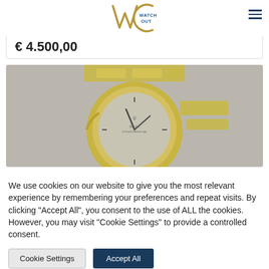WATCH OUT (logo)
€ 4.500,00
[Figure (photo): Close-up photo of a gold Rolex watch with a gold bracelet and silver/grey textured dial, photographed against a light grey background.]
We use cookies on our website to give you the most relevant experience by remembering your preferences and repeat visits. By clicking "Accept All", you consent to the use of ALL the cookies. However, you may visit "Cookie Settings" to provide a controlled consent.
Cookie Settings   Accept All